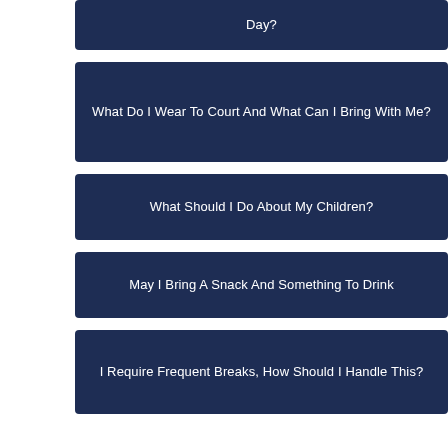Day?
What Do I Wear To Court And What Can I Bring With Me?
What Should I Do About My Children?
May I Bring A Snack And Something To Drink
I Require Frequent Breaks, How Should I Handle This?
Are Jurors Paid And How Long Will I Have To Serve?
Why Jury Service Is Important
Full-Time Student